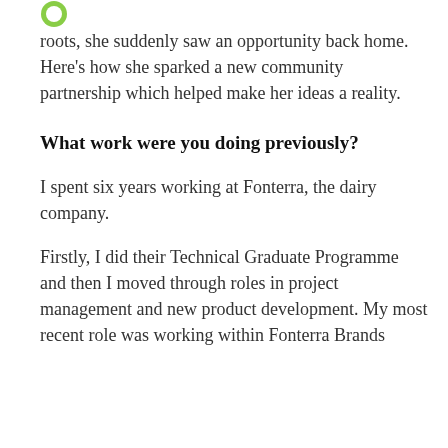[Figure (logo): Green circular logo icon (partial, top-left)]
roots, she suddenly saw an opportunity back home. Here's how she sparked a new community partnership which helped make her ideas a reality.
What work were you doing previously?
I spent six years working at Fonterra, the dairy company.
Firstly, I did their Technical Graduate Programme and then I moved through roles in project management and new product development. My most recent role was working within Fonterra Brands